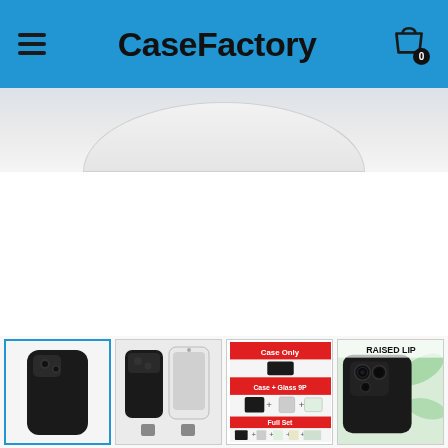CaseFactory
[Figure (photo): Partial top view of a white/light grey phone case product, showing a dome/oval shape — hero banner image]
[Figure (photo): Thumbnail 1 (selected/active): Black slim phone case back view on white background]
[Figure (photo): Thumbnail 2: Side view of phone case with smartphone inserted, showing screen and camera cutouts, with accessory icons below]
[Figure (photo): Thumbnail 3: Product variant options — 'Case Only', 'Case + Glass 9P', 'Full Set' with product images]
[Figure (photo): Thumbnail 4: 'RAISED LIP' promotional image showing close-up of camera area of black phone case with green leaf background]